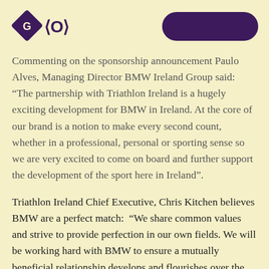GO <O> [logo and pill button]
Commenting on the sponsorship announcement Paulo Alves, Managing Director BMW Ireland Group said: “The partnership with Triathlon Ireland is a hugely exciting development for BMW in Ireland. At the core of our brand is a notion to make every second count, whether in a professional, personal or sporting sense so we are very excited to come on board and further support the development of the sport here in Ireland”.
Triathlon Ireland Chief Executive, Chris Kitchen believes BMW are a perfect match:  “We share common values and strive to provide perfection in our own fields. We will be working hard with BMW to ensure a mutually beneficial relationship develops and flourishes over the sponsorship’s duration.”
Mr Kitchen continued: “Triathlon is one of the fastest growing sports in Ireland and has moved from a niche sport to a mainstream one with over 18,000 members and an ever